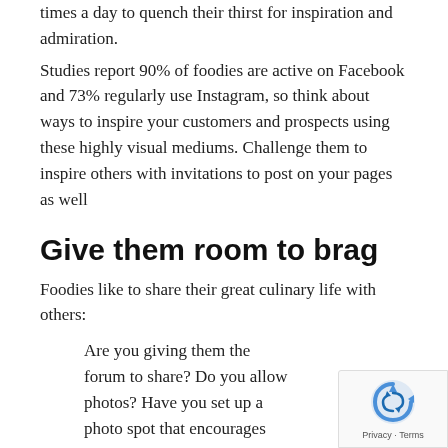times a day to quench their thirst for inspiration and admiration.
Studies report 90% of foodies are active on Facebook and 73% regularly use Instagram, so think about ways to inspire your customers and prospects using these highly visual mediums. Challenge them to inspire others with invitations to post on your pages as well
Give them room to brag
Foodies like to share their great culinary life with others:
Are you giving them the forum to share? Do you allow photos? Have you set up a photo spot that encourages customers to take pho... in designated, branded areas of your busine...